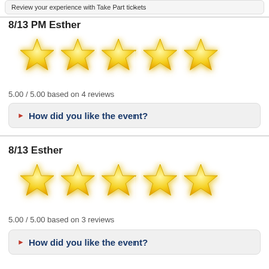Review your experience with Take Part tickets
8/13 PM Esther
[Figure (illustration): Five yellow stars rating display]
5.00 / 5.00 based on 4 reviews
How did you like the event?
8/13 Esther
[Figure (illustration): Five yellow stars rating display]
5.00 / 5.00 based on 3 reviews
How did you like the event?